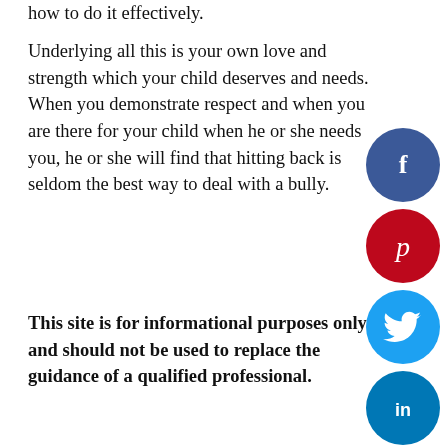how to do it effectively.
Underlying all this is your own love and strength which your child deserves and needs. When you demonstrate respect and when you are there for your child when he or she needs you, he or she will find that hitting back is seldom the best way to deal with a bully.
This site is for informational purposes only and should not be used to replace the guidance of a qualified professional.
[Figure (infographic): Vertical stack of 5 social media share buttons (circles): Facebook (dark blue, f icon), Pinterest (dark red, p icon), Twitter (light blue, bird icon), LinkedIn (blue, 'in' icon), Reddit (orange, alien icon)]